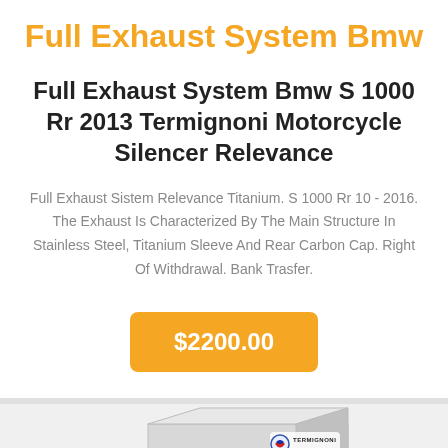Full Exhaust System Bmw
Full Exhaust System Bmw S 1000 Rr 2013 Termignoni Motorcycle Silencer Relevance
Full Exhaust Sistem Relevance Titanium. S 1000 Rr 10 - 2016. The Exhaust Is Characterized By The Main Structure In Stainless Steel, Titanium Sleeve And Rear Carbon Cap. Right Of Withdrawal. Bank Trasfer.
$2200.00
[Figure (photo): Partial view of a Termignoni exhaust product box at the bottom of the page]